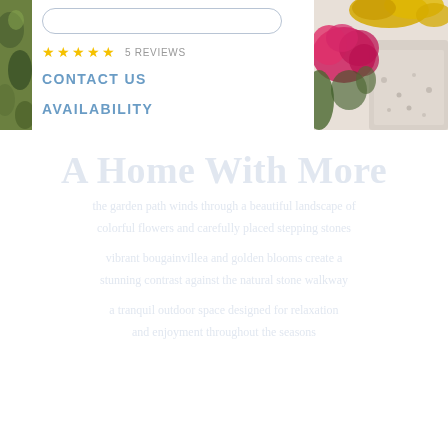[Figure (photo): Left edge: partial view of green garden foliage/plants]
[Figure (photo): Right portion: colorful garden photo with pink/magenta bougainvillea flowers, yellow flowers, and stone/gravel pathway]
5 REVIEWS
CONTACT US
AVAILABILITY
A Home With More
Watermark background text lines (faded)